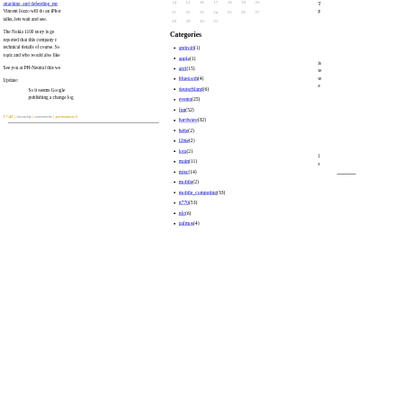attacking, and defending_mc... Vincent Iozzo will do an iPhon... talks, lets wait and see.
The Nokia 1100 story is ge... reported that this company c... technical details of course. So... topic and who would also like...
See you at PH-Neutral this we...
Update:
So it seems Google... publishing a change log...
17:46 | /security | comments | permanent li...
Categories
android(1)
apple(1)
argl(15)
bluetooth(4)
deutschland(6)
events(25)
fun(52)
hardware(32)
hehe(2)
j2me(2)
lora(2)
main(11)
misc(14)
mobile(2)
mobile_computing(33)
n770(53)
nfc(6)
palmos(4)